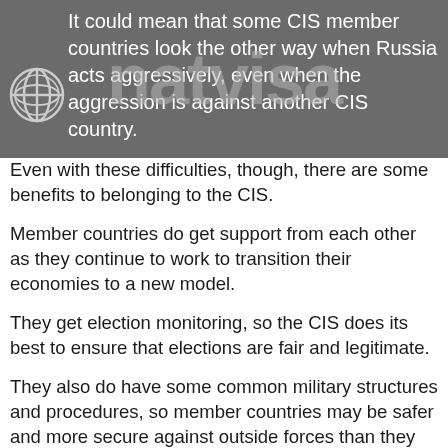It could mean that some CIS member countries look the other way when Russia acts aggressively, even when the aggression is against another CIS country.
Even with these difficulties, though, there are some benefits to belonging to the CIS.
Member countries do get support from each other as they continue to work to transition their economies to a new model.
They get election monitoring, so the CIS does its best to ensure that elections are fair and legitimate.
They also do have some common military structures and procedures, so member countries may be safer and more secure against outside forces than they would be on their own.
There's also a focus on human rights. This may be urging some of the member countries to implement better human rights policies.
However, while Russia made some initial improvement in this area, they have since gone backwards. Other countries have made marginal, if any, improvements in this area.